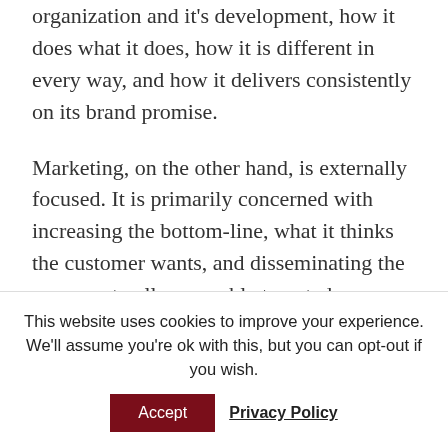organization and it's development, how it does what it does, how it is different in every way, and how it delivers consistently on its brand promise.
Marketing, on the other hand, is externally focused. It is primarily concerned with increasing the bottom-line, what it thinks the customer wants, and disseminating the message to all reasonable targeted audiences through multiple channels.
This website uses cookies to improve your experience. We'll assume you're ok with this, but you can opt-out if you wish.